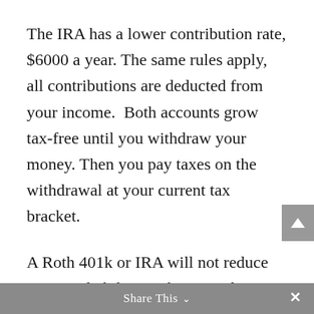The IRA has a lower contribution rate, $6000 a year. The same rules apply, all contributions are deducted from your income.  Both accounts grow tax-free until you withdraw your money. Then you pay taxes on the withdrawal at your current tax bracket.
A Roth 401k or IRA will not reduce your tax liabilities. They are after-tax accounts – your contributions are not deductible when you make
Share This ×